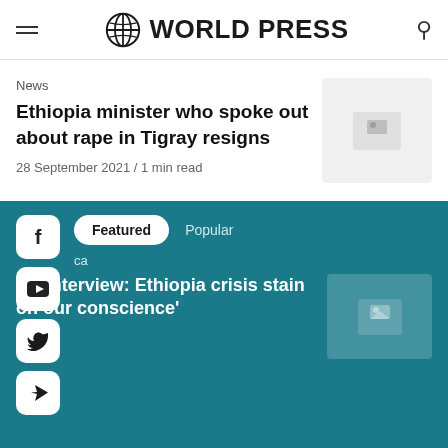WORLD PRESS
News
Ethiopia minister who spoke out about rape in Tigray resigns
28 September 2021 / 1 min read
[Figure (illustration): Social media share buttons: Facebook, YouTube, Twitter, Telegram]
Featured   Popular
ca
AP Interview: Ethiopia crisis stain on our conscience'